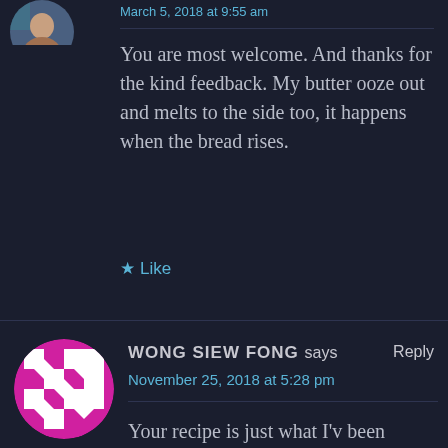March 5, 2018 at 9:55 am
You are most welcome. And thanks for the kind feedback. My butter ooze out and melts to the side too, it happens when the bread rises.
★ Like
WONG SIEW FONG says
Reply
November 25, 2018 at 5:28 pm
Your recipe is just what I'v been
Advertisements